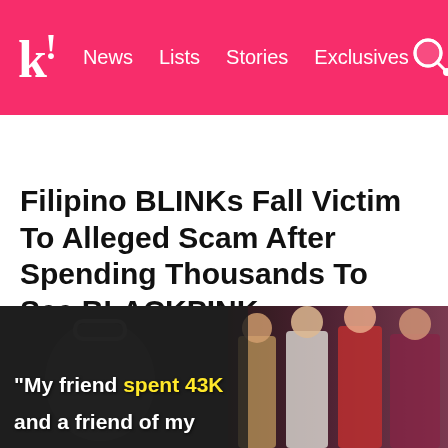k! News Lists Stories Exclusives
BTS  BLACKPINK  Girls' Generation  TWICE  TXT  SEVE
Filipino BLINKs Fall Victim To Alleged Scam After Spending Thousands To See BLACKPINK
“Winners” were prevented from seeing BLACKPINK.
[Figure (photo): Image panel showing a quote overlay: 'My friend spent 43K and a friend of my' in white and yellow text over a dark background, with BLACKPINK members visible on the right side.]